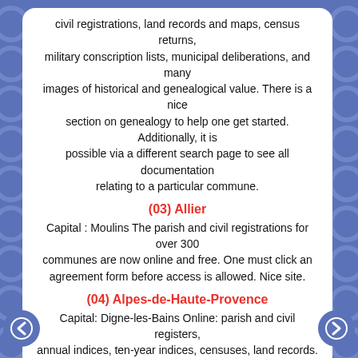civil registrations, land records and maps, census returns, military conscription lists, municipal deliberations, and many images of historical and genealogical value. There is a nice section on genealogy to help one get started. Additionally, it is possible via a different search page to see all documentation relating to a particular commune.
(03) Allier
Capital : Moulins The parish and civil registrations for over 300 communes are now online and free. One must click an agreement form before access is allowed. Nice site.
(04) Alpes-de-Haute-Provence
Capital: Digne-les-Bains Online: parish and civil registers, annual indices, ten-year indices, censuses, land records.
(05) Hautes-Alpes
Capital: Gap. Online: parish and civil registers through 1916, marriage banns, ten-year indices. Incredibly helpful people when contacted by e-mail; they really go out of their way to help further one's research.
(06) Alpes-Maritimes
Capital: Nice. Parish and civil registrations from the 16th century to 1914. Alphabetic indices to conscription lists from 1870 to 1928. Land registry maps and records.